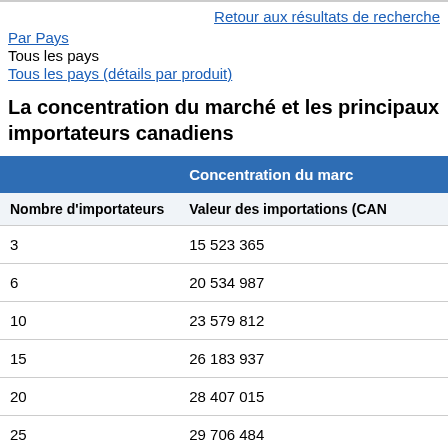Retour aux résultats de recherche
Par Pays
Tous les pays
Tous les pays (détails par produit)
La concentration du marché et les principaux importateurs canadiens
| Nombre d'importateurs | Valeur des importations (CAN...) |
| --- | --- |
| 3 | 15 523 365 |
| 6 | 20 534 987 |
| 10 | 23 579 812 |
| 15 | 26 183 937 |
| 20 | 28 407 015 |
| 25 | 29 706 484 |